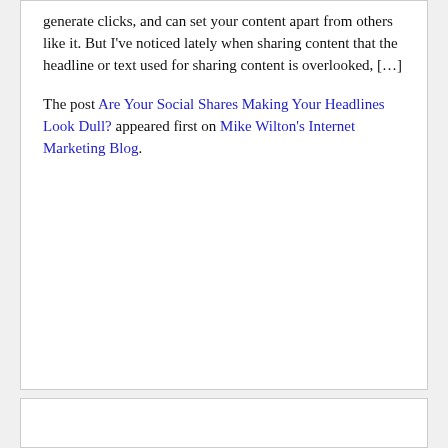generate clicks, and can set your content apart from others like it.  But I've noticed lately when sharing content that the headline or text used for sharing content is overlooked, […]
The post Are Your Social Shares Making Your Headlines Look Dull? appeared first on Mike Wilton's Internet Marketing Blog.